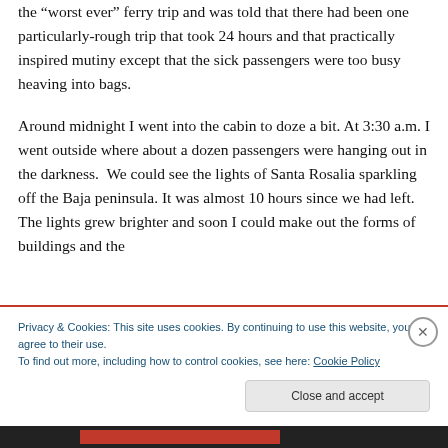the "worst ever" ferry trip and was told that there had been one particularly-rough trip that took 24 hours and that practically inspired mutiny except that the sick passengers were too busy heaving into bags.
Around midnight I went into the cabin to doze a bit. At 3:30 a.m. I went outside where about a dozen passengers were hanging out in the darkness.  We could see the lights of Santa Rosalia sparkling off the Baja peninsula. It was almost 10 hours since we had left. The lights grew brighter and soon I could make out the forms of buildings and the
Privacy & Cookies: This site uses cookies. By continuing to use this website, you agree to their use.
To find out more, including how to control cookies, see here: Cookie Policy